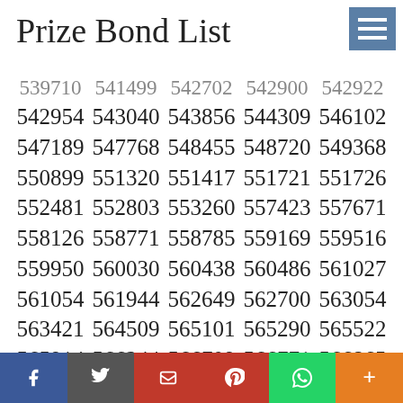Prize Bond List
| 539710 | 541499 | 542702 | 542900 | 542922 |
| 542954 | 543040 | 543856 | 544309 | 546102 |
| 547189 | 547768 | 548455 | 548720 | 549368 |
| 550899 | 551320 | 551417 | 551721 | 551726 |
| 552481 | 552803 | 553260 | 557423 | 557671 |
| 558126 | 558771 | 558785 | 559169 | 559516 |
| 559950 | 560030 | 560438 | 560486 | 561027 |
| 561054 | 561944 | 562649 | 562700 | 563054 |
| 563421 | 564509 | 565101 | 565290 | 565522 |
| 565914 | 566244 | 566709 | 566771 | 566865 |
| 568500 | 569072 | 570892 | 571934 | 574011 |
| 574875 | 575809 | 576105 | 576261 | 576469 |
| 576890 | 577255 | 577620 | 577855 | 578801 |
| 580154 | 580181 | 582093 | 584064 | 585174 |
| 585634 | 585662 | 585791 | 585894 | 585956 |